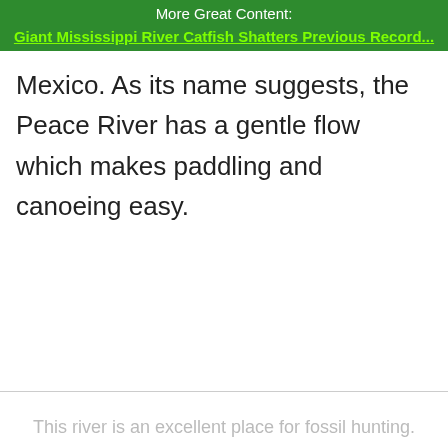More Great Content:
Giant Mississippi River Catfish Shatters Previous Record...
Mexico. As its name suggests, the Peace River has a gentle flow which makes paddling and canoeing easy.
This river is an excellent place for fossil hunting.